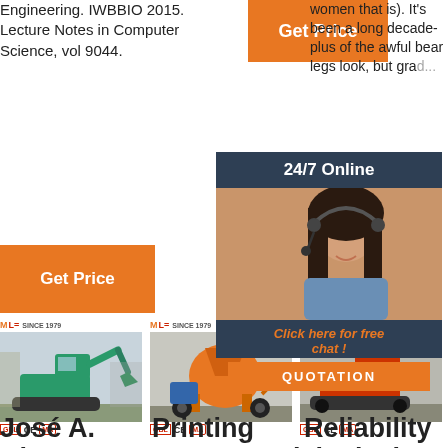Engineering. IWBBIO 2015. Lecture Notes in Computer Science, vol 9044.
[Figure (screenshot): Orange 'Get Price' button]
women that is). It's been a long decade-plus of the awful bear legs look, but gra...
[Figure (screenshot): Orange 'Get Price' button (left column)]
[Figure (screenshot): Orange 'G...' button (right column, partially visible)]
[Figure (screenshot): 24/7 Online popup overlay with photo of woman with headset, 'Click here for free chat!' text, and QUOTATION button]
[Figure (photo): Mini excavator / construction equipment, teal color]
[Figure (photo): Orange concrete spraying machine on wheels]
[Figure (photo): Red/orange construction equipment, partially obscured by popup]
José A. Diaz, M.D.
Printing Nanomaterials
Reliability Analysis Of